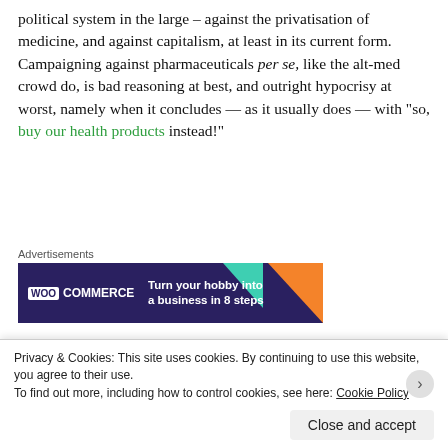political system in the large – against the privatisation of medicine, and against capitalism, at least in its current form. Campaigning against pharmaceuticals per se, like the alt-med crowd do, is bad reasoning at best, and outright hypocrisy at worst, namely when it concludes — as it usually does — with "so, buy our health products instead!"
[Figure (other): WooCommerce advertisement banner: dark purple background with teal and orange triangles. Text reads 'Turn your hobby into a business in 8 steps'.]
Drug discovery requires large numbers of scientists, doing difficult science, working full-time jobs. Pharma companies do...
Privacy & Cookies: This site uses cookies. By continuing to use this website, you agree to their use.
To find out more, including how to control cookies, see here: Cookie Policy